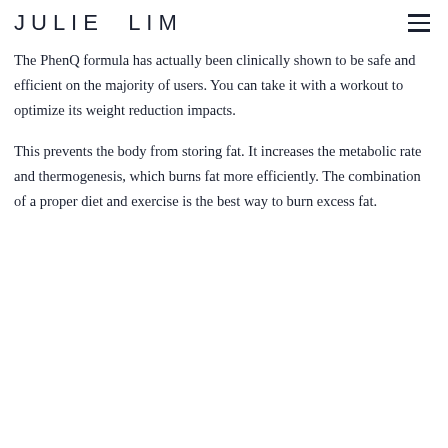JULIE LIM
The PhenQ formula has actually been clinically shown to be safe and efficient on the majority of users. You can take it with a workout to optimize its weight reduction impacts.
This prevents the body from storing fat. It increases the metabolic rate and thermogenesis, which burns fat more efficiently. The combination of a proper diet and exercise is the best way to burn excess fat.